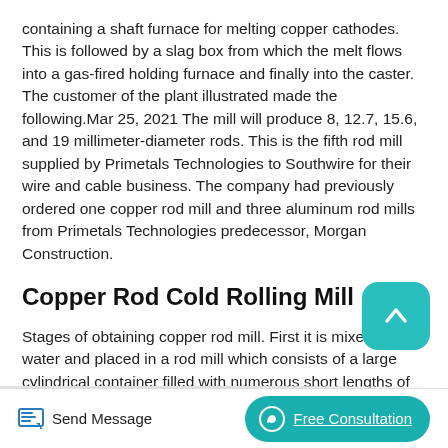containing a shaft furnace for melting copper cathodes. This is followed by a slag box from which the melt flows into a gas-fired holding furnace and finally into the caster. The customer of the plant illustrated made the following.Mar 25, 2021 The mill will produce 8, 12.7, 15.6, and 19 millimeter-diameter rods. This is the fifth rod mill supplied by Primetals Technologies to Southwire for their wire and cable business. The company had previously ordered one copper rod mill and three aluminum rod mills from Primetals Technologies predecessor, Morgan Construction.
Copper Rod Cold Rolling Mill
Stages of obtaining copper rod mill. First it is mixed with water and placed in a rod mill which consists of a large cylindrical container filled with numerous short lengths of